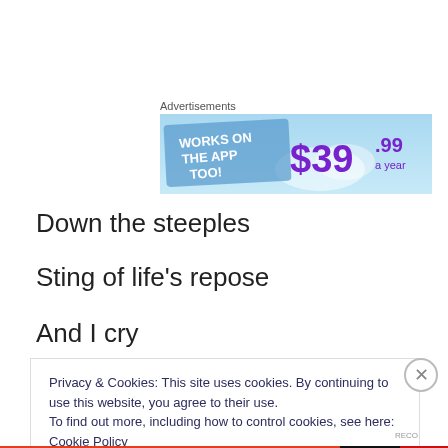Advertisements
[Figure (illustration): Advertisement banner with light blue background. Left side shows bold white text 'WORKS ON THE APP TOO!' in diagonal. Right side shows large purple price text '$39.99 a year'.]
Down the steeples
Sting of life's repose
And I cry
Privacy & Cookies: This site uses cookies. By continuing to use this website, you agree to their use.
To find out more, including how to control cookies, see here: Cookie Policy
Close and accept